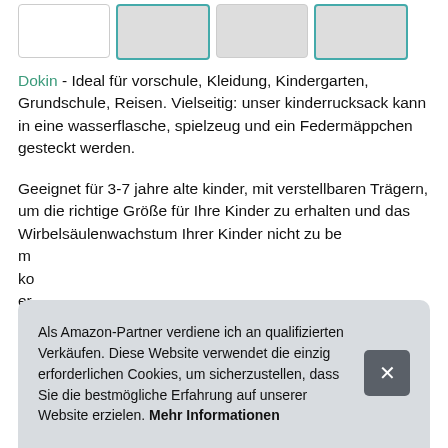[Figure (other): Four thumbnail image boxes at the top, one with blue border (active), one with a small colored image]
Dokin - Ideal für vorschule, Kleidung, Kindergarten, Grundschule, Reisen. Vielseitig: unser kinderrucksack kann in eine wasserflasche, spielzeug und ein Federmäppchen gesteckt werden.
Geeignet für 3-7 jahre alte kinder, mit verstellbaren Trägern, um die richtige Größe für Ihre Kinder zu erhalten und das Wirbelsäulenwachstum Ihrer Kinder nicht zu be... m... ko... er...
Als Amazon-Partner verdiene ich an qualifizierten Verkäufen. Diese Website verwendet die einzig erforderlichen Cookies, um sicherzustellen, dass Sie die bestmögliche Erfahrung auf unserer Website erzielen. Mehr Informationen